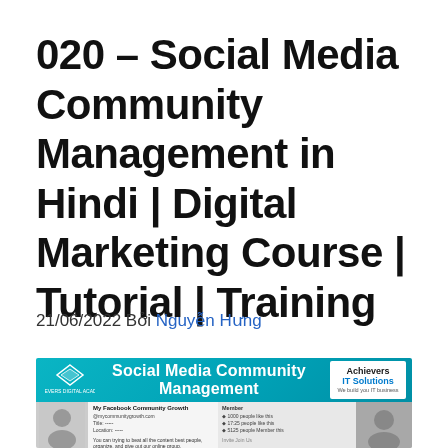020 – Social Media Community Management in Hindi | Digital Marketing Course | Tutorial | Training
21/06/2022 Bởi Nguyễn Hưng
[Figure (screenshot): Thumbnail image of a Social Media Community Management video course banner with teal background, 'Achievers IT Solutions' logo on the right, and a lower section showing course content, a person's face, and small text.]